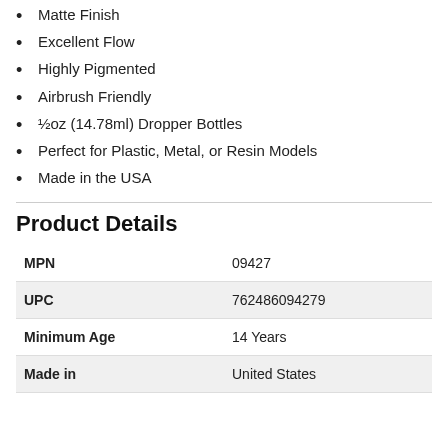Matte Finish
Excellent Flow
Highly Pigmented
Airbrush Friendly
½oz (14.78ml) Dropper Bottles
Perfect for Plastic, Metal, or Resin Models
Made in the USA
Product Details
|  |  |
| --- | --- |
| MPN | 09427 |
| UPC | 762486094279 |
| Minimum Age | 14 Years |
| Made in | United States |